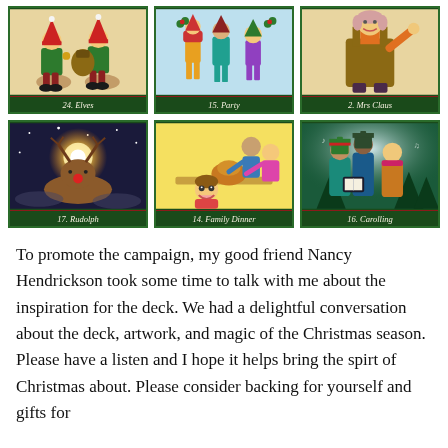[Figure (illustration): Six illustrated Christmas oracle/tarot cards arranged in a 3x2 grid. Top row: '24. Elves' showing two elves, '15. Party' showing festive party figures, '2. Mrs Claus' showing Mrs Claus. Bottom row: '17. Rudolph' showing Rudolph the reindeer with glowing nose in a night sky, '14. Family Dinner' showing a family at a holiday dinner table, '16. Carolling' showing carollers with songbooks. All cards have dark green borders with red accent line.]
To promote the campaign, my good friend Nancy Hendrickson took some time to talk with me about the inspiration for the deck. We had a delightful conversation about the deck, artwork, and magic of the Christmas season. Please have a listen and I hope it helps bring the spirt of Christmas about. Please consider backing for yourself and gifts for